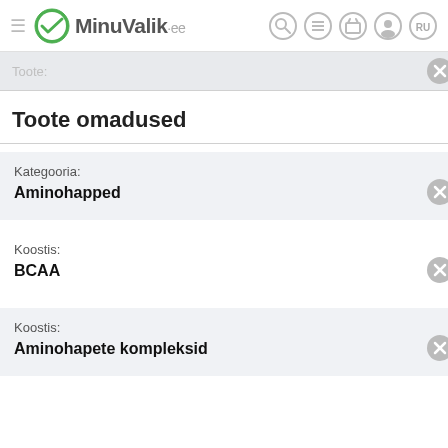MinuValik.ee
Toote omadused
Kategooria: Aminohapped
Koostis: BCAA
Koostis: Aminohapete kompleksid